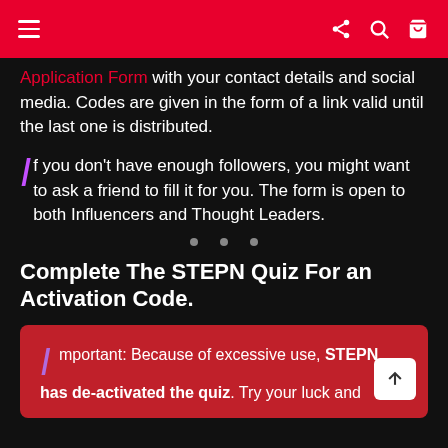Navigation bar with menu, share, search, and cart icons
Application Form with your contact details and social media. Codes are given in the form of a link valid until the last one is distributed.
If you don't have enough followers, you might want to ask a friend to fill it for you. The form is open to both Influencers and Thought Leaders.
Complete The STEPN Quiz For an Activation Code.
Important: Because of excessive use, STEPN has de-activated the quiz. Try your luck and